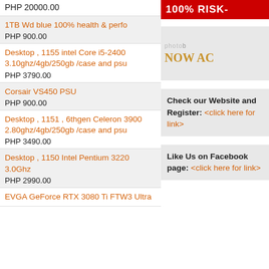PHP 20000.00
1TB Wd blue 100% health & perfo
PHP 900.00
Desktop , 1155 intel Core i5-2400 3.10ghz/4gb/250gb /case and psu
PHP 3790.00
Corsair VS450 PSU
PHP 900.00
Desktop , 1151 , 6thgen Celeron 3900 2.80ghz/4gb/250gb /case and psu
PHP 3490.00
Desktop , 1150 Intel Pentium 3220 3.0Ghz
PHP 2990.00
EVGA GeForce RTX 3080 Ti FTW3 Ultra
[Figure (infographic): Red banner with white bold text '100% RISK-']
[Figure (infographic): Grey photobucket banner with gold serif text 'NOW AC']
Check our Website and Register: <click here for link>
Like Us on Facebook page: <click here for link>